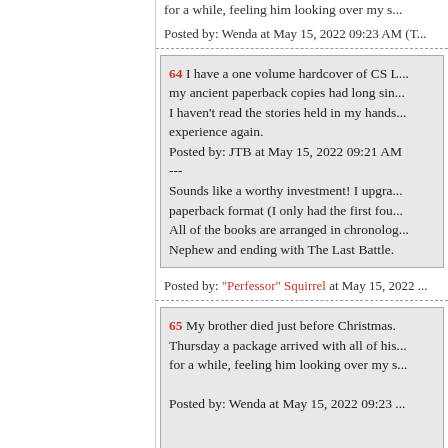for a while, feeling him looking over my s...
Posted by: Wenda at May 15, 2022 09:23 AM (T...
64 I have a one volume hardcover of CS L... my ancient paperback copies had long sin... I haven't read the stories held in my hands... experience again. Posted by: JTB at May 15, 2022 09:21 AM --- Sounds like a worthy investment! I upgra... paperback format (I only had the first fou... All of the books are arranged in chronolog... Nephew and ending with The Last Battle.
Posted by: "Perfessor" Squirrel at May 15, 2022 ...
65 My brother died just before Christmas. Thursday a package arrived with all of his... for a while, feeling him looking over my s... Posted by: Wenda at May 15, 2022 09:23 ...
What a nice remembrance.